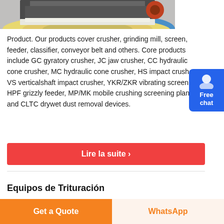[Figure (photo): Industrial crushing machine equipment photo, showing a large crusher/grinding mill on a circular platform with colorful rings]
Product. Our products cover crusher, grinding mill, screen, feeder, classifier, conveyor belt and others. Core products include GC gyratory crusher, JC jaw crusher, CC hydraulic cone crusher, MC hydraulic cone crusher, HS impact crusher, VS verticalshaft impact crusher, YKR/ZKR vibrating screen, HPF grizzly feeder, MP/MK mobile crushing screening plant, and CLTC drywet dust removal devices.
[Figure (other): Free chat button bubble, blue rounded rectangle with text 'Free chat' and a person icon]
Lire la suite ›
Equipos de Trituración
Get a Quote
WhatsApp